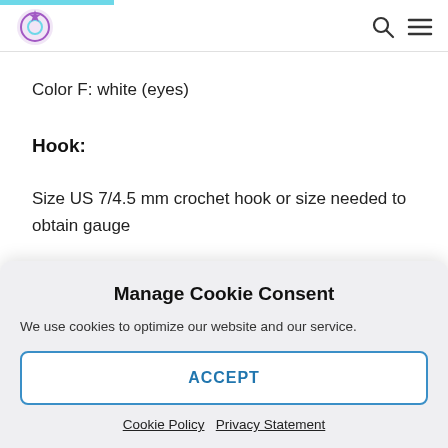Color F: white (eyes)
Hook:
Size US 7/4.5 mm crochet hook or size needed to obtain gauge
Manage Cookie Consent
We use cookies to optimize our website and our service.
ACCEPT
Cookie Policy   Privacy Statement